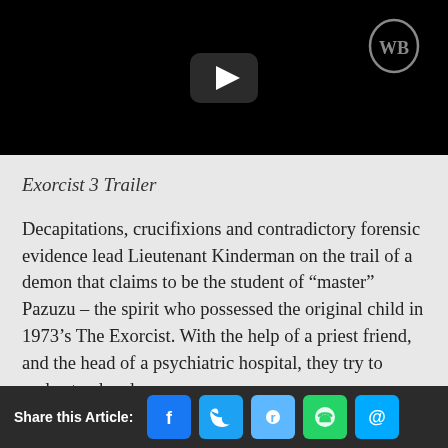[Figure (screenshot): Black video player thumbnail with a YouTube-style play button icon in the center and a WB (Warner Bros) logo watermark in the top right corner]
Exorcist 3 Trailer
Decapitations, crucifixions and contradictory forensic evidence lead Lieutenant Kinderman on the trail of a demon that claims to be the student of “master” Pazuzu – the spirit who possessed the original child in 1973’s The Exorcist. With the help of a priest friend, and the head of a psychiatric hospital, they try to understand and
Share this Article: [Facebook] [Twitter] [Reddit] [WhatsApp] [Email]